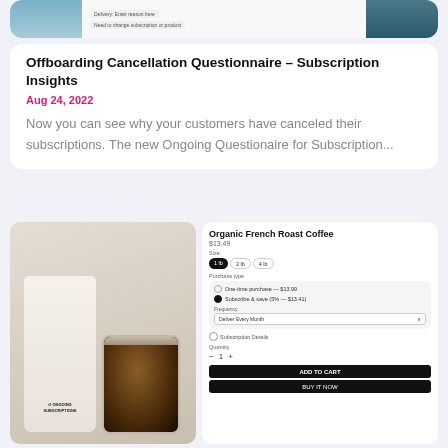[Figure (screenshot): Screenshot of a website UI showing a cancellation questionnaire interface with water/ocean background image]
Offboarding Cancellation Questionnaire – Subscription Insights
Aug 24, 2022
Now you can see why your customers have canceled their subscriptions. The new Ongoing Questionaire for Subscription...
[Figure (screenshot): Product page screenshot showing Organic French Roast Coffee with coffee bag and jar photo, size options (1lb, 2lb, 4lb), purchase type options (one-time and subscribe & save), frequency selector (Deliver Every Month), subscription details link, quantity control, Add to Cart and Buy Now buttons]